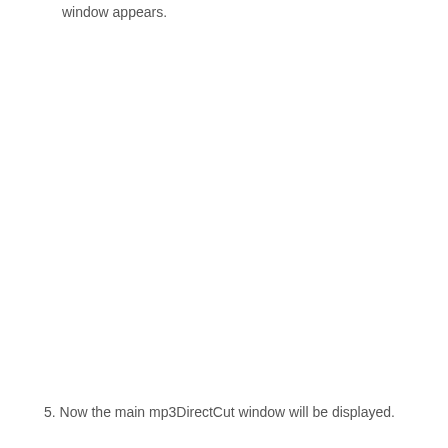window appears.
5. Now the main mp3DirectCut window will be displayed.